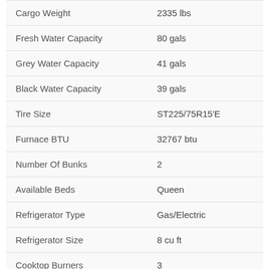| Specification | Value |
| --- | --- |
| Cargo Weight | 2335 lbs |
| Fresh Water Capacity | 80 gals |
| Grey Water Capacity | 41 gals |
| Black Water Capacity | 39 gals |
| Tire Size | ST225/75R15'E |
| Furnace BTU | 32767 btu |
| Number Of Bunks | 2 |
| Available Beds | Queen |
| Refrigerator Type | Gas/Electric |
| Refrigerator Size | 8 cu ft |
| Cooktop Burners | 3 |
| Number of Awnings | 1 |
| LP Tank Capacity | 30 lbs |
| Water Heater Capacity | 6 gal |
| Water Heater Type | Gas/Electric |